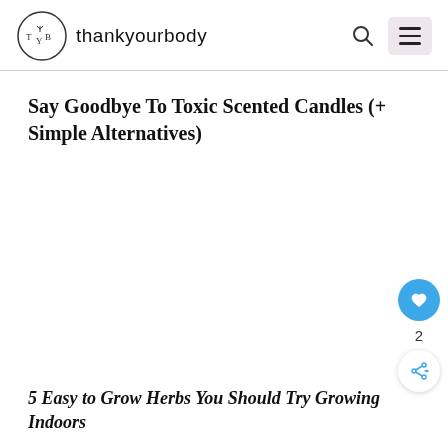thankyourbody
Say Goodbye To Toxic Scented Candles (+ Simple Alternatives)
5 Easy to Grow Herbs You Should Try Growing Indoors